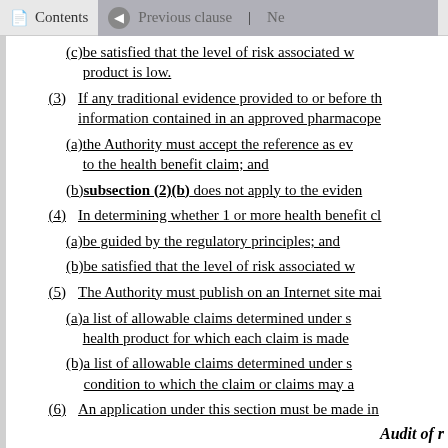Contents | Previous clause | Ne
(c) be satisfied that the level of risk associated with the product is low.
(3) If any traditional evidence provided to or before th information contained in an approved pharmacope
(a) the Authority must accept the reference as e to the health benefit claim; and
(b) subsection (2)(b) does not apply to the eviden
(4) In determining whether 1 or more health benefit cl
(a) be guided by the regulatory principles; and
(b) be satisfied that the level of risk associated w
(5) The Authority must publish on an Internet site mai
(a) a list of allowable claims determined under s health product for which each claim is made
(b) a list of allowable claims determined under s condition to which the claim or claims may a
(6) An application under this section must be made in
Audit of r